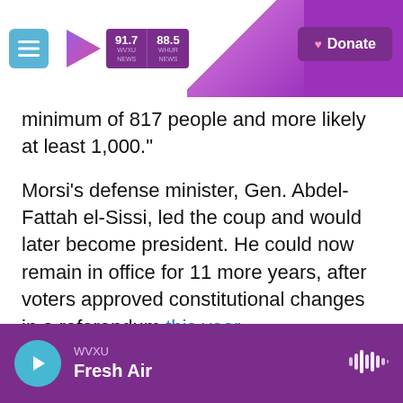WVXU 91.7 NEWS | 88.5 WHUR NEWS | Donate
minimum of 817 people and more likely at least 1,000."
Morsi's defense minister, Gen. Abdel-Fattah el-Sissi, led the coup and would later become president. He could now remain in office for 11 more years, after voters approved constitutional changes in a referendum this year.
Sissi has led a sweeping crackdown against Morsi's supporters and many others who disagree with his policies. Human rights groups say tens of thousands of people have been jailed for political
WVXU Fresh Air